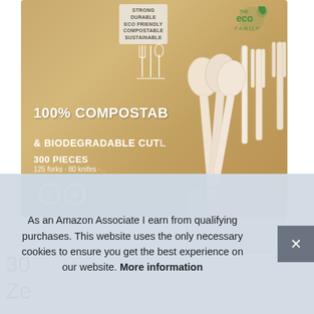[Figure (photo): Product photo of a box of '100% Compostable & Biodegradable Cutlery' - 300 pieces, featuring eco-friendly label. Box is kraft brown with green strip at bottom and green eco logo in top right. Compostable cutlery (spoons, forks, knives) arranged in a glass cup is shown in the foreground overlapping the box.]
30
Ze
As an Amazon Associate I earn from qualifying purchases. This website uses the only necessary cookies to ensure you get the best experience on our website. More information